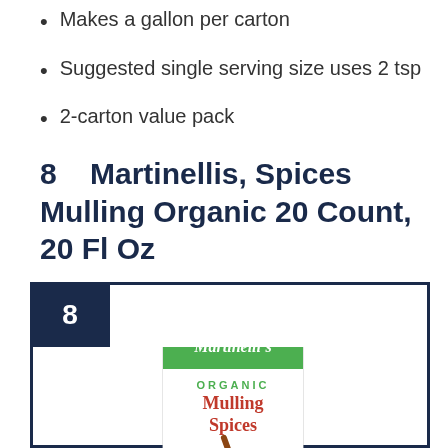Makes a gallon per carton
Suggested single serving size uses 2 tsp
2-carton value pack
8    Martinellis, Spices Mulling Organic 20 Count, 20 Fl Oz
[Figure (photo): Product box of Martinelli's Organic Mulling Spices, green and white carton with USDA Organic seal, showing a hot mug with cinnamon stick and apples]